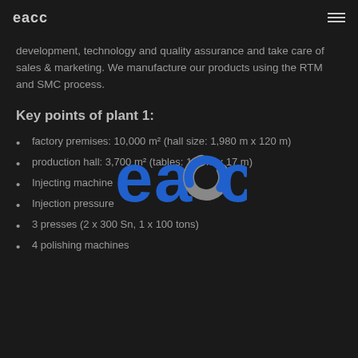eacc
development, technology and quality assurance and take care of sales & marketing. We manufacture our products using the RTM and SMC process.
Key points of plant 1:
factory premises: 10,000 m² (hall size: 1,980 m x 120 m)
production hall: 3,700 m² (tables: 150 m x 17 m)
Injecting machine
Injection pressure
3 presses (2 x 300 Sn, 1 x 100 tons)
4 polishing machines
[Figure (logo): eacc company logo — blue text 'eacc' with a stylized circular arrow 'c' element in blue and grey]